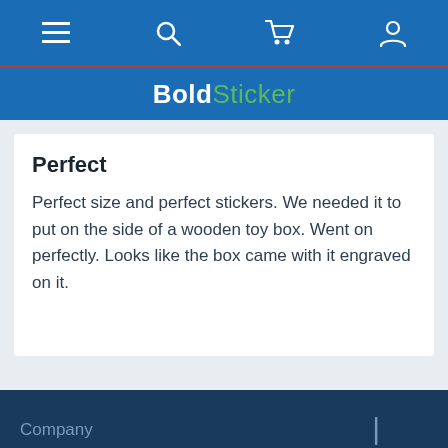BoldSticker — navigation bar with menu, search, cart, and user icons
BoldSticker
Perfect
Perfect size and perfect stickers. We needed it to put on the side of a wooden toy box. Went on perfectly. Looks like the box came with it engraved on it.
Company